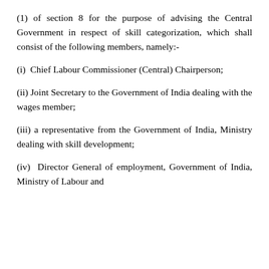(1) of section 8 for the purpose of advising the Central Government in respect of skill categorization, which shall consist of the following members, namely:-
(i)  Chief Labour Commissioner (Central) Chairperson;
(ii) Joint Secretary to the Government of India dealing with the wages member;
(iii) a representative from the Government of India, Ministry dealing with skill development;
(iv)  Director General of employment, Government of India, Ministry of Labour and